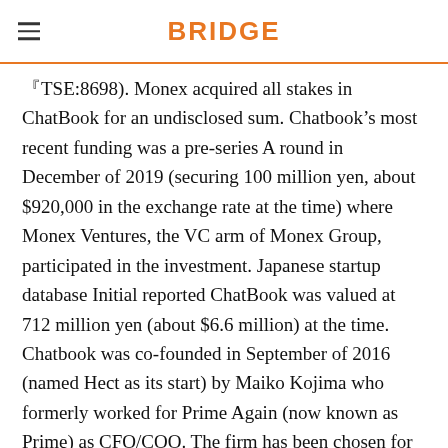BRIDGE
『TSE:8698). Monex acquired all stakes in ChatBook for an undisclosed sum. Chatbook’s most recent funding was a pre-series A round in December of 2019 (securing 100 million yen, about $920,000 in the exchange rate at the time) where Monex Ventures, the VC arm of Monex Group, participated in the investment. Japanese startup database Initial reported ChatBook was valued at 712 million yen (about $6.6 million) at the time. Chatbook was co-founded in September of 2016 (named Hect as its start) by Maiko Kojima who formerly worked for Prime Again (now known as Prime) as CFO/COO. The firm has been chosen for various accelerator programs so far; the first batch of the Code Public program in 2016, Accelorate course of EbStart which is a developer